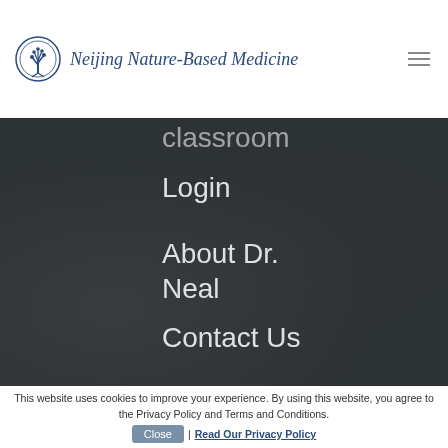Neijing Nature-Based Medicine
Classroom
Login
About Dr. Neal
Contact Us
This website uses cookies to improve your experience. By using this website, you agree to the Privacy Policy and Terms and Conditions. | Read Our Privacy Policy